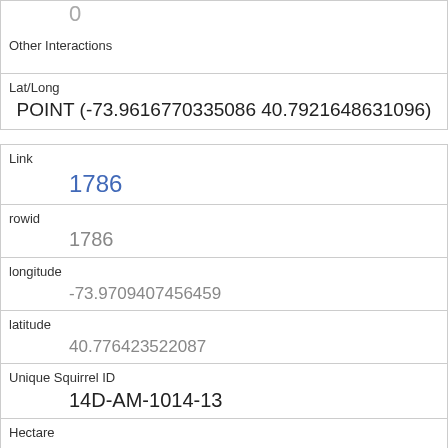| Other Interactions |  |
| Lat/Long | POINT (-73.9616770335086 40.7921648631096) |
| Link | 1786 |
| rowid | 1786 |
| longitude | -73.9709407456459 |
| latitude | 40.776423522087 |
| Unique Squirrel ID | 14D-AM-1014-13 |
| Hectare | 14D |
| Shift | AM |
| Date |  |